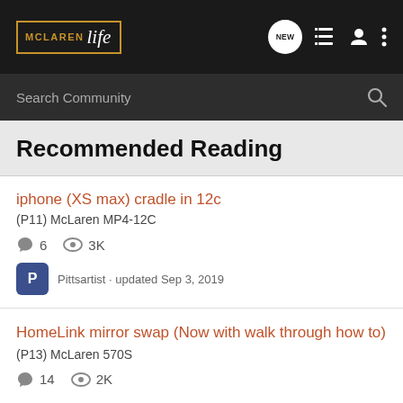McLaren Life — NEW, list, user, menu icons, Search Community
Recommended Reading
iphone (XS max) cradle in 12c
(P11) McLaren MP4-12C
6 replies · 3K views · Pittsartist · updated Sep 3, 2019
HomeLink mirror swap (Now with walk through how to)
(P13) McLaren 570S
14 replies · 2K views